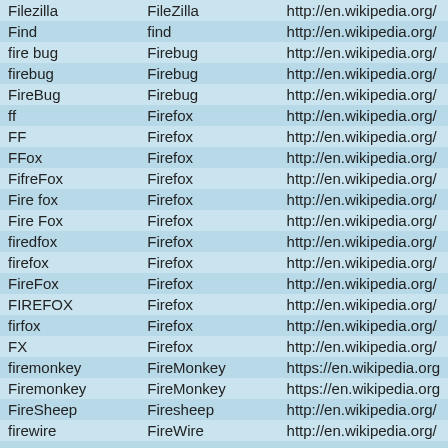|  |  |  |
| --- | --- | --- |
| Filezilla | FileZilla | http://en.wikipedia.org/ |
| Find | find | http://en.wikipedia.org/ |
| fire bug | Firebug | http://en.wikipedia.org/ |
| firebug | Firebug | http://en.wikipedia.org/ |
| FireBug | Firebug | http://en.wikipedia.org/ |
| ff | Firefox | http://en.wikipedia.org/ |
| FF | Firefox | http://en.wikipedia.org/ |
| FFox | Firefox | http://en.wikipedia.org/ |
| FifreFox | Firefox | http://en.wikipedia.org/ |
| Fire fox | Firefox | http://en.wikipedia.org/ |
| Fire Fox | Firefox | http://en.wikipedia.org/ |
| firedfox | Firefox | http://en.wikipedia.org/ |
| firefox | Firefox | http://en.wikipedia.org/ |
| FireFox | Firefox | http://en.wikipedia.org/ |
| FIREFOX | Firefox | http://en.wikipedia.org/ |
| firfox | Firefox | http://en.wikipedia.org/ |
| FX | Firefox | http://en.wikipedia.org/ |
| firemonkey | FireMonkey | https://en.wikipedia.org/ |
| Firemonkey | FireMonkey | https://en.wikipedia.org/ |
| FireSheep | Firesheep | http://en.wikipedia.org/ |
| firewire | FireWire | http://en.wikipedia.org/ |